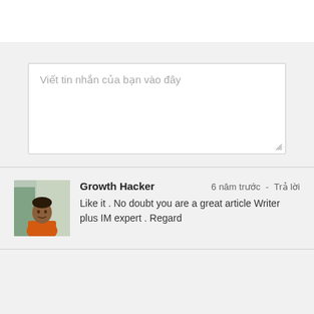Viết tin nhắn của bạn vào đây
[Figure (photo): Avatar photo of a man in an orange t-shirt with a building background]
Growth Hacker
6 năm trước  - Trả lời
Like it . No doubt you are a great article Writer plus IM expert . Regard